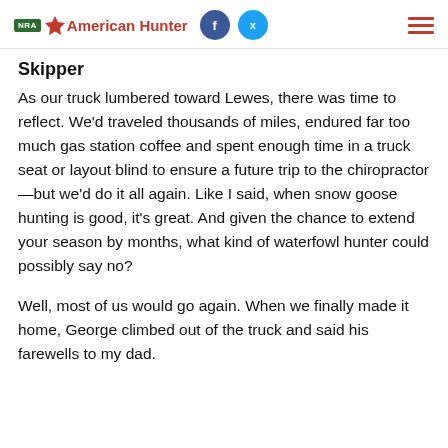NRA American Hunter
Skipper
As our truck lumbered toward Lewes, there was time to reflect. We'd traveled thousands of miles, endured far too much gas station coffee and spent enough time in a truck seat or layout blind to ensure a future trip to the chiropractor—but we'd do it all again. Like I said, when snow goose hunting is good, it's great. And given the chance to extend your season by months, what kind of waterfowl hunter could possibly say no?
Well, most of us would go again. When we finally made it home, George climbed out of the truck and said his farewells to my dad.